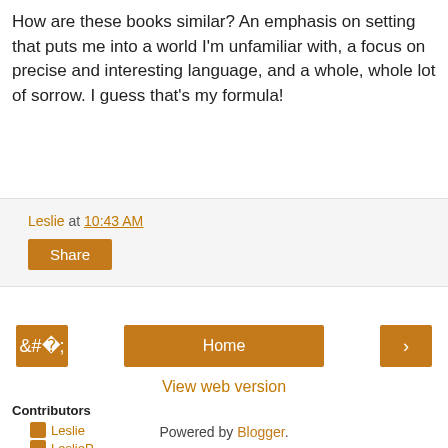How are these books similar?  An emphasis on setting that puts me into a world I'm unfamiliar with, a focus on precise and interesting language, and a whole, whole lot of sorrow.  I guess that's my formula!
Leslie at 10:43 AM
Share
< Home >
View web version
Contributors
Leslie
LeslieP
Powered by Blogger.